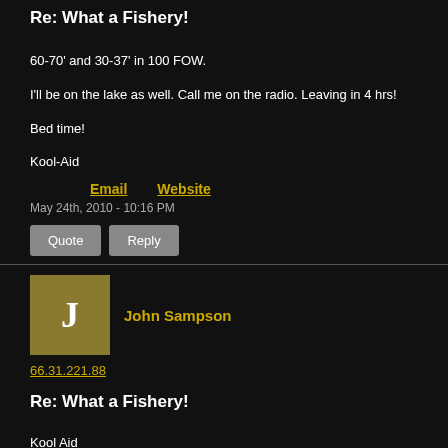Re: What a Fishery!
60-70' and 30-37' in 100 FOW.
I'll be on the lake as well. Call me on the radio. Leaving in 4 hrs!
Bed time!
Kool-Aid
Email   Website
May 24th, 2010 - 10:16 PM
Quote  Reply
John Sampson
66.31.221.88
Re: What a Fishery!
Kool Aid
How does this work, do I just post my response?